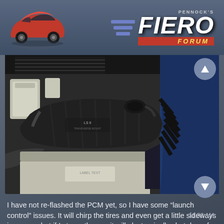[Figure (logo): Pennock's Fiero Forum logo with red Fiero car illustration and purple stripe design]
[Figure (photo): Engine bay photo showing a large V8 or V6 engine with black plastic intake cover in a Pontiac Fiero, engine compartment open]
I have not re-flashed the PCM yet, so I have some "launch control" issues. It will chirp the tires and even get a little sideways in corners but if I stomp the gas it will electronically shut down for a second or two as a default tranny saver.
11:38 AM